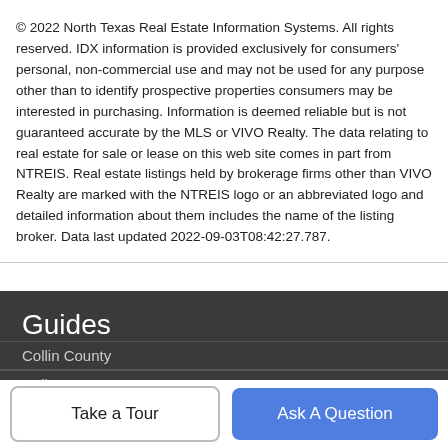© 2022 North Texas Real Estate Information Systems. All rights reserved. IDX information is provided exclusively for consumers' personal, non-commercial use and may not be used for any purpose other than to identify prospective properties consumers may be interested in purchasing. Information is deemed reliable but is not guaranteed accurate by the MLS or VIVO Realty. The data relating to real estate for sale or lease on this web site comes in part from NTREIS. Real estate listings held by brokerage firms other than VIVO Realty are marked with the NTREIS logo or an abbreviated logo and detailed information about them includes the name of the listing broker. Data last updated 2022-09-03T08:42:27.787.
Guides
Collin County
Dallas County